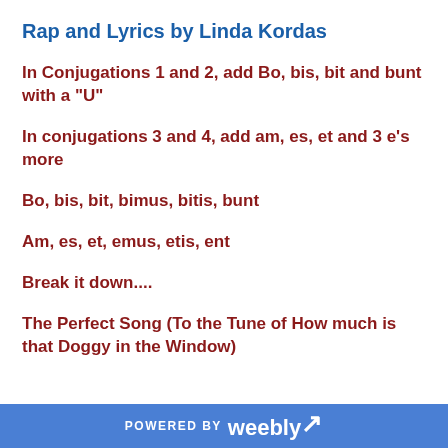Rap and Lyrics by Linda Kordas
In Conjugations 1 and 2, add Bo, bis, bit and bunt with a "U"
In conjugations 3 and 4, add am, es, et and 3 e's more
Bo, bis, bit, bimus, bitis, bunt
Am, es, et, emus, etis, ent
Break it down....
The Perfect Song (To the Tune of How much is that Doggy in the Window)
POWERED BY weebly